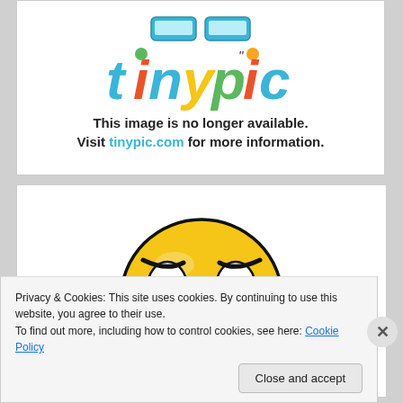[Figure (screenshot): Tinypic.com error page showing the tinypic logo and message that the image is no longer available]
This image is no longer available. Visit tinypic.com for more information.
[Figure (illustration): Yellow sad/angry emoji face with furrowed brows and downturned mouth, reddish ears/sides]
Privacy & Cookies: This site uses cookies. By continuing to use this website, you agree to their use.
To find out more, including how to control cookies, see here: Cookie Policy